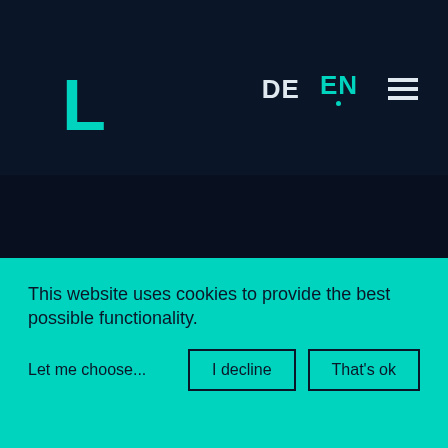[Figure (logo): Teal/turquoise letter L logo mark in top-left of dark navy navigation bar]
DE  EN  ☰
This website uses cookies to provide the best possible functionality.

Let me choose...
I decline   That's ok